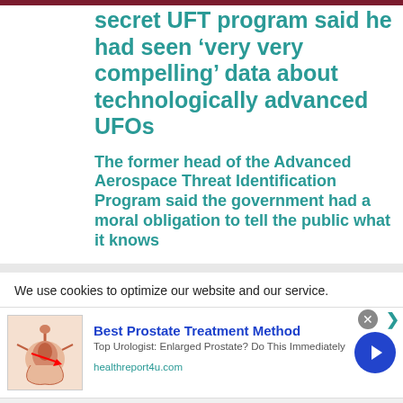secret UFT program said he had seen ‘very very compelling’ data about technologically advanced UFOs
The former head of the Advanced Aerospace Threat Identification Program said the government had a moral obligation to tell the public what it knows
We use cookies to optimize our website and our service.
[Figure (infographic): Advertisement banner: Best Prostate Treatment Method. Top Urologist: Enlarged Prostate? Do This Immediately. healthreport4u.com. With a medical illustration of a prostate and a blue circular arrow button.]